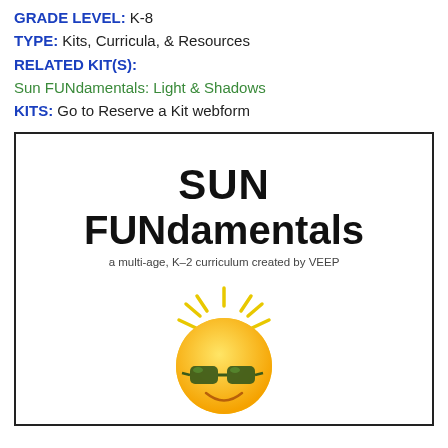GRADE LEVEL: K-8
TYPE:  Kits, Curricula, & Resources
RELATED KIT(S):
Sun FUNdamentals: Light & Shadows
KITS:  Go to Reserve a Kit webform
[Figure (illustration): Cover page of the Sun FUNdamentals curriculum booklet. Large bold text reads 'SUN FUNdamentals', subtitle reads 'a multi-age, K-2 curriculum created by VEEP', and a cartoon sun emoji wearing sunglasses is shown at the bottom.]